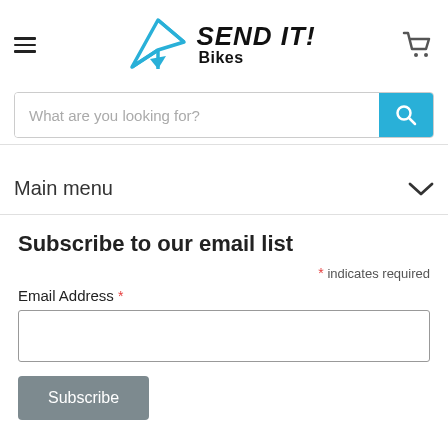SEND IT! Bikes — navigation header with hamburger menu, logo, and cart icon
What are you looking for?
Main menu
Subscribe to our email list
* indicates required
Email Address *
Subscribe